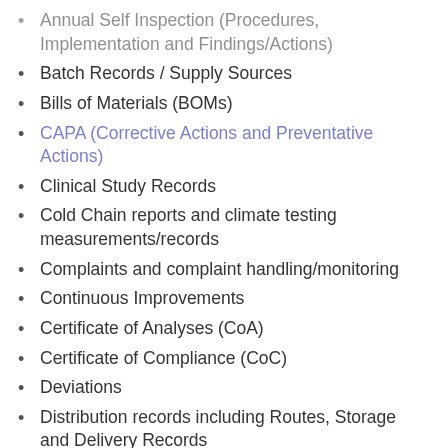Annual Self Inspection (Procedures, Implementation and Findings/Actions)
Batch Records / Supply Sources
Bills of Materials (BOMs)
CAPA (Corrective Actions and Preventative Actions)
Clinical Study Records
Cold Chain reports and climate testing measurements/records
Complaints and complaint handling/monitoring
Continuous Improvements
Certificate of Analyses (CoA)
Certificate of Compliance (CoC)
Deviations
Distribution records including Routes, Storage and Delivery Records
Incident Reports
Laboratory Notebooks / Logbooks